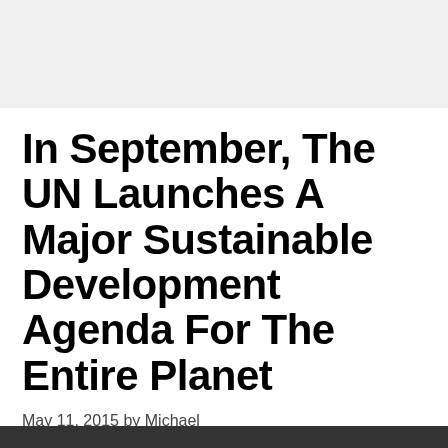In September, The UN Launches A Major Sustainable Development Agenda For The Entire Planet
May 11, 2015 by Michael
7.8k SHARES
[Figure (infographic): Social share buttons: Facebook (dark blue), Twitter (cyan), Email (yellow) alongside 7.8k shares count]